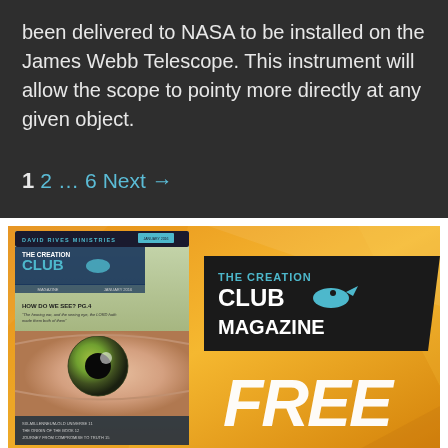been delivered to NASA to be installed on the James Webb Telescope. This instrument will allow the scope to pointy more directly at any given object.
1  2  …  6  Next →
[Figure (illustration): Advertisement for The Creation Club Magazine showing the magazine cover with an eye and text 'THE CREATION CLUB MAGAZINE' and 'FREE' in large letters on an orange/yellow background.]